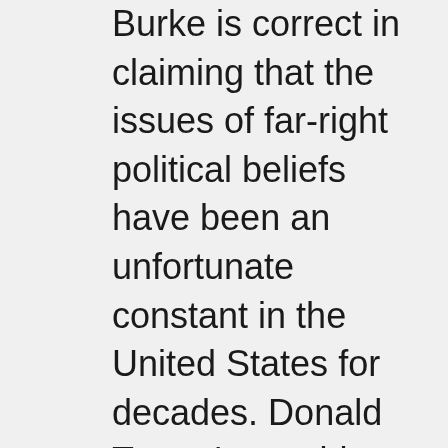Burke is correct in claiming that the issues of far-right political beliefs have been an unfortunate constant in the United States for decades. Donald Trump's presidency (and the use of the agencies granted him through such a position) was only the lamp that shed light on the dark underbelly of toxic American right-wing beliefs that has been growing in the shadows. Trump